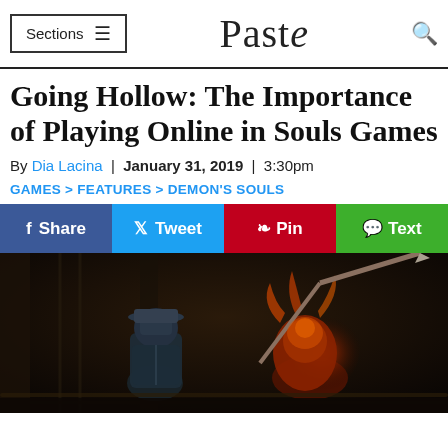Sections | Paste | [search icon]
Going Hollow: The Importance of Playing Online in Souls Games
By Dia Lacina | January 31, 2019 | 3:30pm
GAMES > FEATURES > DEMON'S SOULS
Share | Tweet | Pin | Text
[Figure (photo): Dark fantasy game screenshot showing armored characters in a dimly lit dungeon environment, with one character wielding a long weapon against another glowing fiery enemy.]